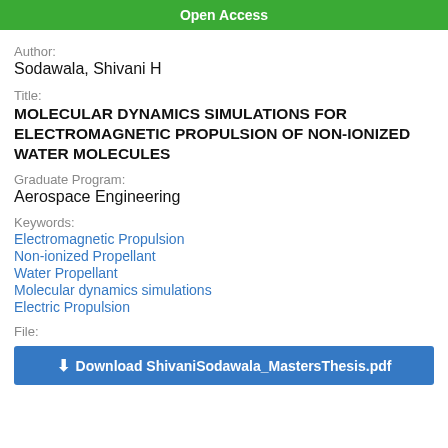Open Access
Author:
Sodawala, Shivani H
Title:
MOLECULAR DYNAMICS SIMULATIONS FOR ELECTROMAGNETIC PROPULSION OF NON-IONIZED WATER MOLECULES
Graduate Program:
Aerospace Engineering
Keywords:
Electromagnetic Propulsion
Non-ionized Propellant
Water Propellant
Molecular dynamics simulations
Electric Propulsion
File:
Download ShivaniSodawala_MastersThesis.pdf